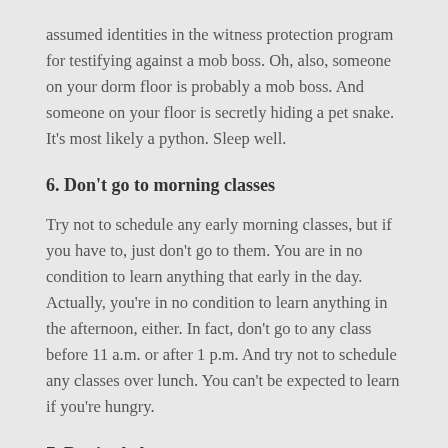assumed identities in the witness protection program for testifying against a mob boss. Oh, also, someone on your dorm floor is probably a mob boss. And someone on your floor is secretly hiding a pet snake. It's most likely a python. Sleep well.
6. Don't go to morning classes
Try not to schedule any early morning classes, but if you have to, just don't go to them. You are in no condition to learn anything that early in the day. Actually, you're in no condition to learn anything in the afternoon, either. In fact, don't go to any class before 11 a.m. or after 1 p.m. And try not to schedule any classes over lunch. You can't be expected to learn if you're hungry.
7. Don't pledge
You may get the opportunity to join a fraternity or a sorority. These groups basically exist as programs to train you to become rich. Members help each other to join the elite and it's a great